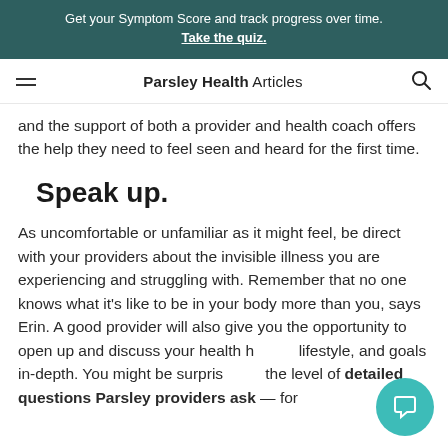Get your Symptom Score and track progress over time. Take the quiz.
Parsley Health Articles
and the support of both a provider and health coach offers the help they need to feel seen and heard for the first time.
Speak up.
As uncomfortable or unfamiliar as it might feel, be direct with your providers about the invisible illness you are experiencing and struggling with. Remember that no one knows what it's like to be in your body more than you, says Erin. A good provider will also give you the opportunity to open up and discuss your health history, lifestyle, and goals in-depth. You might be surprised by the level of detailed questions Parsley providers ask — for